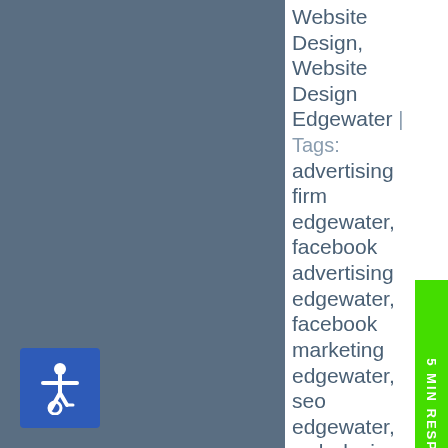[Figure (illustration): Blue/grey background left panel with accessibility wheelchair icon in blue square at bottom left]
Website Design, Website Design Edgewater | Tags: advertising firm edgewater, facebook advertising edgewater, facebook marketing edgewater, seo edgewater, web design company edgewater, web designer
[Figure (infographic): Green vertical bar on right side with '5 MIN RESPONSE' text rotated 90 degrees]